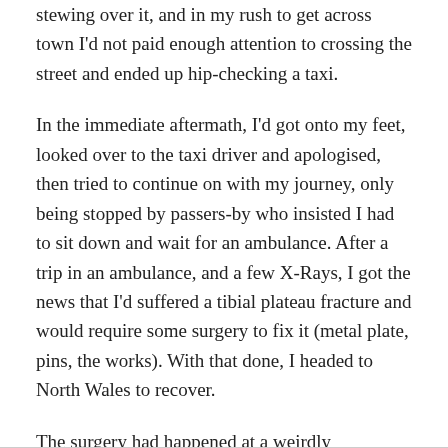stewing over it, and in my rush to get across town I'd not paid enough attention to crossing the street and ended up hip-checking a taxi.
In the immediate aftermath, I'd got onto my feet, looked over to the taxi driver and apologised, then tried to continue on with my journey, only being stopped by passers-by who insisted I had to sit down and wait for an ambulance. After a trip in an ambulance, and a few X-Rays, I got the news that I'd suffered a tibial plateau fracture and would require some surgery to fix it (metal plate, pins, the works). With that done, I headed to North Wales to recover.
The surgery had happened at a weirdly transitional point in my life. Only a few days earlier I'd performed improv on stage for the first time (see “Yes And” and “Memory